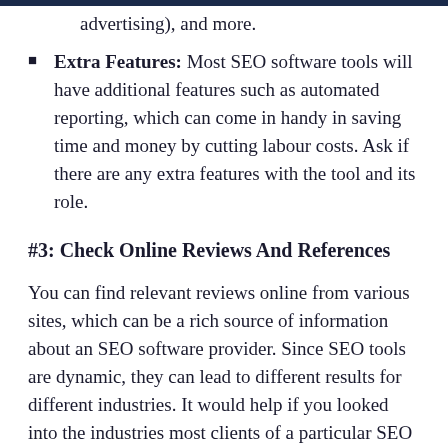advertising), and more.
Extra Features: Most SEO software tools will have additional features such as automated reporting, which can come in handy in saving time and money by cutting labour costs. Ask if there are any extra features with the tool and its role.
#3: Check Online Reviews And References
You can find relevant reviews online from various sites, which can be a rich source of information about an SEO software provider. Since SEO tools are dynamic, they can lead to different results for different industries. It would help if you looked into the industries most clients of a particular SEO software come from. Research what the SEO tool could achieve to see what experience to expect with the tool.